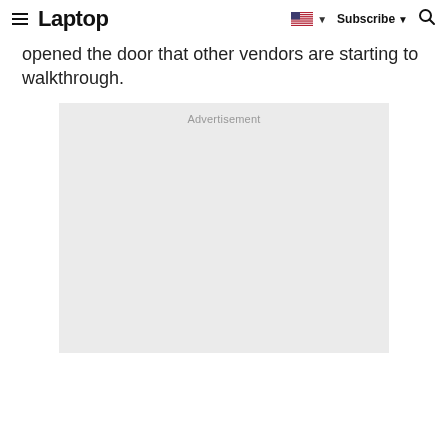Laptop | Subscribe
opened the door that other vendors are starting to walkthrough.
[Figure (other): Advertisement placeholder box with light gray background and 'Advertisement' label at top center]